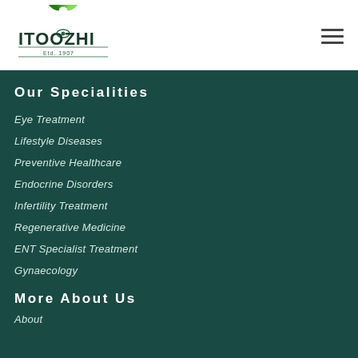[Figure (logo): ITOOZHI logo with green leaf design and text 'Etd. 1907']
Our Specialities
Eye Treatment
Lifestyle Diseases
Preventive Healthcare
Endocrine Disorders
Infertility Treatment
Regenerative Medicine
ENT Specialist Treatment
Gynaecology
More About Us
About